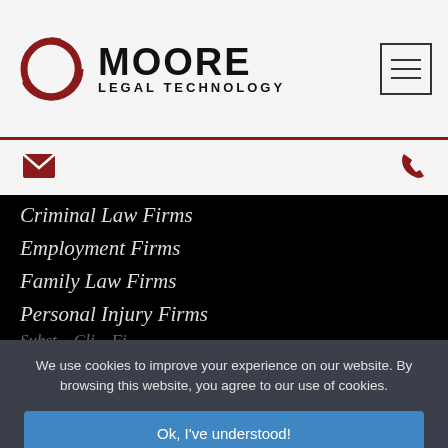[Figure (logo): Moore Legal Technology logo with circular dark red ring icon and bold MOORE / LEGAL TECHNOLOGY text]
[Figure (other): Hamburger menu icon (three horizontal lines) in a box, top right of header]
[Figure (other): Email envelope icon (dark red) on left and phone icon (dark red) on right in secondary nav bar]
Criminal Law Firms
Employment Firms
Family Law Firms
Personal Injury Firms
(partially visible item)
We use cookies to improve your experience on our website. By browsing this website, you agree to our use of cookies.
Ok, I've understood!
Decline
More Info